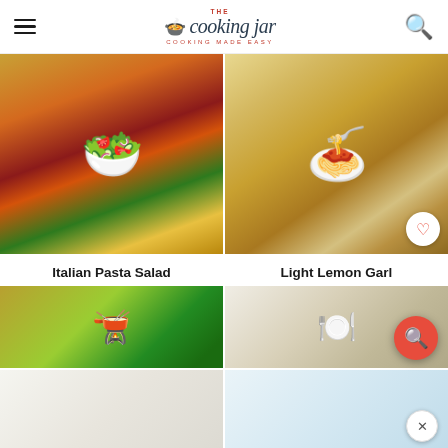The Cooking Jar — COOKING MADE EASY
[Figure (photo): Bowl of Italian pasta salad with rotini, cherry tomatoes, bell peppers, olives and herbs]
Italian Pasta Salad
[Figure (photo): Plate of light lemon garlic pasta with salmon, rigatoni with herbs and parmesan]
Light Lemon Garlic Pasta with Salmon
[Figure (photo): Partial view of pasta dish with green herbs in a dark bowl]
[Figure (photo): Partial view of a light-colored dish with cutlery]
[Figure (photo): Partially visible white fluffy food or dessert]
[Figure (photo): Partially visible light blue-toned food image]